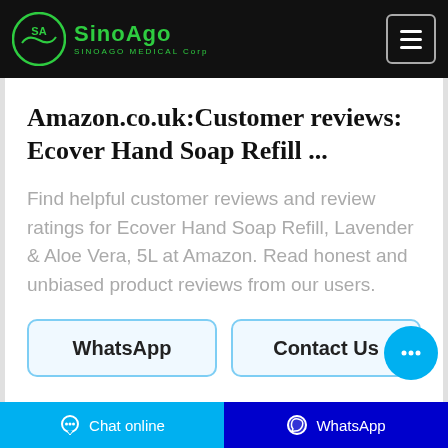SinoAgo SINOAGO MEDICAL Corp
Amazon.co.uk:Customer reviews: Ecover Hand Soap Refill ...
Find helpful customer reviews and review ratings for Ecover Hand Soap Refill, Lavender & Aloe Vera, 5L at Amazon. Read honest and unbiased product reviews from our users.
WhatsApp
Contact Us
Chat online   WhatsApp